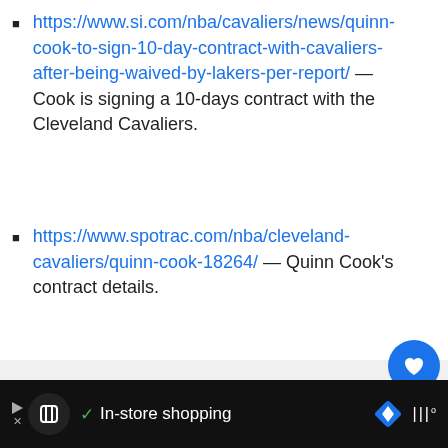https://www.si.com/nba/cavaliers/news/quinn-cook-to-sign-10-day-contract-with-cavaliers-after-being-waived-by-lakers-per-report/ — Cook is signing a 10-days contract with the Cleveland Cavaliers.
https://www.spotrac.com/nba/cleveland-cavaliers/quinn-cook-18264/ — Quinn Cook's contract details.
[Figure (screenshot): Gray content panel with social media like/share widget on the right showing a heart button, count of 1, and a share button. Below that is a 'What's Next' card showing a thumbnail and 'Speedy Claxton Net...' text.]
In-store shopping